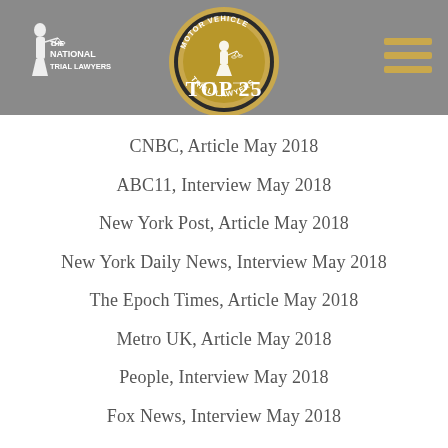[Figure (logo): The National Trial Lawyers logo – white figure with scales and text]
[Figure (logo): Motor Vehicle Trial Lawyers Top 25 gold medallion badge]
[Figure (other): Hamburger menu icon with three gold horizontal lines]
CNBC, Article May 2018
ABC11, Interview May 2018
New York Post, Article May 2018
New York Daily News, Interview May 2018
The Epoch Times, Article May 2018
Metro UK, Article May 2018
People, Interview May 2018
Fox News, Interview May 2018